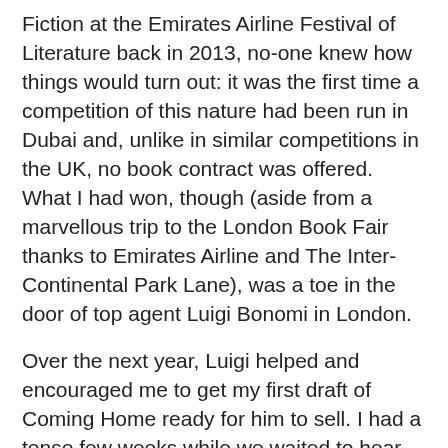Fiction at the Emirates Airline Festival of Literature back in 2013, no-one knew how things would turn out: it was the first time a competition of this nature had been run in Dubai and, unlike in similar competitions in the UK, no book contract was offered. What I had won, though (aside from a marvellous trip to the London Book Fair thanks to Emirates Airline and The Inter-Continental Park Lane), was a toe in the door of top agent Luigi Bonomi in London.
Over the next year, Luigi helped and encouraged me to get my first draft of Coming Home ready for him to sell. I had a tense few weeks while we waited to hear the publishers' verdicts – and quite a few rejections – before I was offered a three-book deal with Harlequin MIRA.
Since then, many new writers have got their start thanks to the Montegrappa / Emirates Airline Festival of Literature competition, and Luigi has